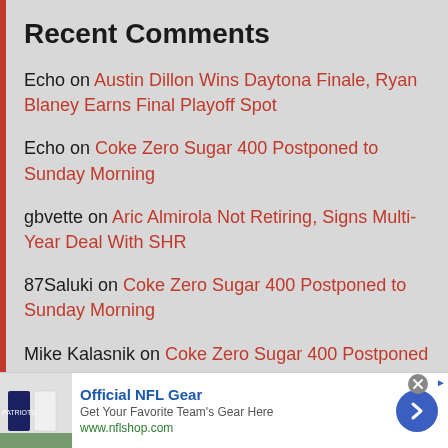Recent Comments
Echo on Austin Dillon Wins Daytona Finale, Ryan Blaney Earns Final Playoff Spot
Echo on Coke Zero Sugar 400 Postponed to Sunday Morning
gbvette on Aric Almirola Not Retiring, Signs Multi-Year Deal With SHR
87Saluki on Coke Zero Sugar 400 Postponed to Sunday Morning
Mike Kalasnik on Coke Zero Sugar 400 Postponed to Sunday Morning
[Figure (screenshot): Advertisement for Official NFL Gear from nflshop.com showing NFL jerseys image, title, description, green URL, and blue circular arrow button]